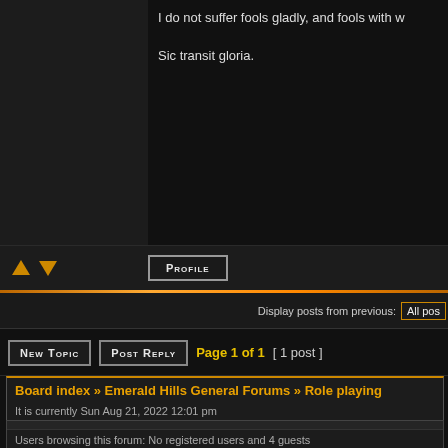I do not suffer fools gladly, and fools with w
Sic transit gloria.
PROFILE
Display posts from previous: All pos
NEW TOPIC   POST REPLY   Page 1 of 1  [ 1 post ]
Board index » Emerald Hills General Forums » Role playing
It is currently Sun Aug 21, 2022 12:01 pm
All times are UTC - 6 hours [ DST ]
Users browsing this forum: No registered users and 4 guests